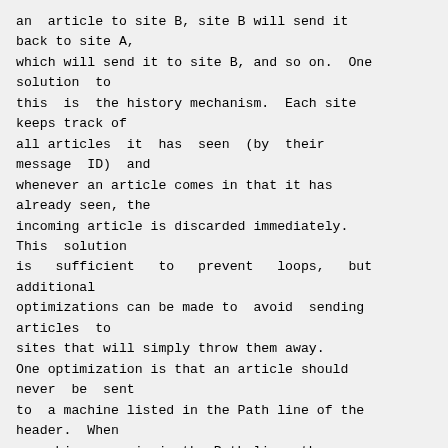an  article to site B, site B will send it back to site A,
which will send it to site B, and so on.  One solution  to
this  is  the history mechanism.  Each site keeps track of
all articles  it  has  seen  (by  their  message  ID)  and
whenever an article comes in that it has already seen, the
incoming article is discarded immediately.  This  solution
is   sufficient   to   prevent   loops,   but  additional
optimizations can be made to  avoid  sending  articles  to
sites that will simply throw them away.
One optimization is that an article should never  be  sent
to  a machine listed in the Path line of the header.  When
a machine name is in the Path line, the
message is known